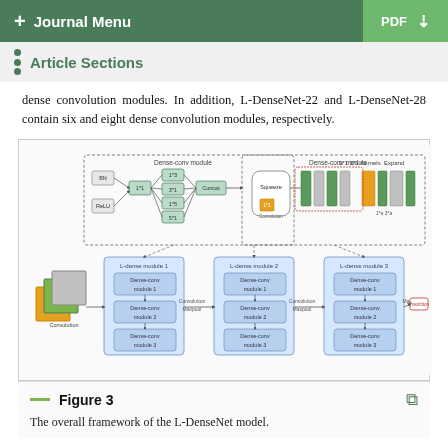+ Journal Menu   PDF ↓
Article Sections
dense convolution modules. In addition, L-DenseNet-22 and L-DenseNet-28 contain six and eight dense convolution modules, respectively.
[Figure (engineering-diagram): The overall framework of the L-DenseNet model showing dense-conv modules, L-dense modules 1, 2, and 3 with Dense-conv module 1, 2, 3 components, convolution, maxpool, and prediction stages.]
Figure 3
The overall framework of the L-DenseNet model.